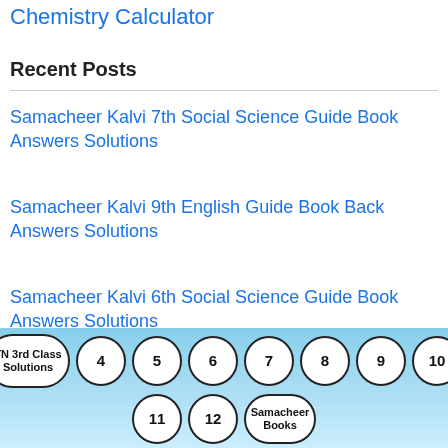Chemistry Calculator
Recent Posts
Samacheer Kalvi 7th Social Science Guide Book Answers Solutions
Samacheer Kalvi 9th English Guide Book Back Answers Solutions
Samacheer Kalvi 6th Social Science Guide Book Answers Solutions
Samacheer Kalvi 7th Maths Guide Book
[Figure (other): Navigation bubble buttons: TN 3rd Class Solutions, 4, 5, 6, 7, 8, 9, 10, 11, 12, Samacheer Books on a blue gradient background]